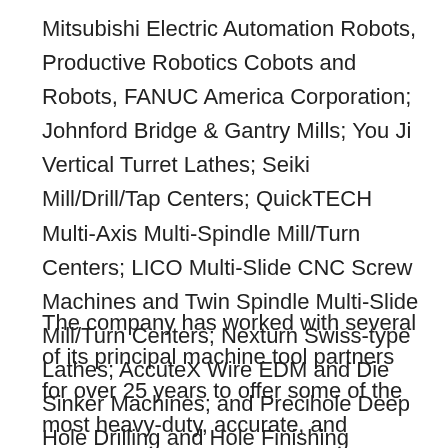Mitsubishi Electric Automation Robots, Productive Robotics Cobots and Robots, FANUC America Corporation; Johnford Bridge & Gantry Mills; You Ji Vertical Turret Lathes; Seiki Mill/Drill/Tap Centers; QuickTECH Multi-Axis Multi-Spindle Mill/Turn Centers; LICO Multi-Slide CNC Screw Machines and Twin Spindle Multi-Slide Mill/Turn Centers; Nexturn Swiss-type Lathes; AccuteX Wire EDM and Die Sinker Machines; and Precihole Deep Hole Drilling and Hole Finishing Machines.
The company has worked with several of its principal machine tool partners for over 25 years to offer some of the most heavy-duty, accurate, and productive machines in the industry. Absolute is an